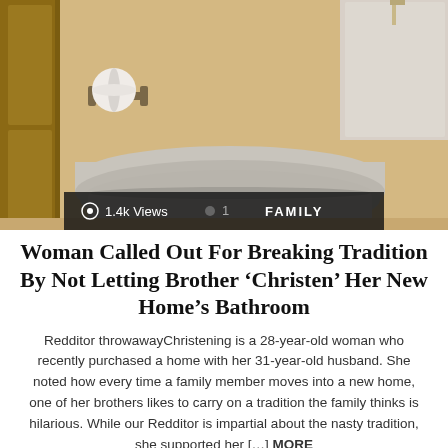[Figure (photo): Close-up photo of a white toilet with lid closed in a bathroom. A toilet paper roll is visible on a holder on the left wall. The walls are beige/tan colored. An overlay bar at the bottom shows '1.4k Views' and 'FAMILY' category label.]
Woman Called Out For Breaking Tradition By Not Letting Brother ‘Christen’ Her New Home’s Bathroom
Redditor throwawayChristening is a 28-year-old woman who recently purchased a home with her 31-year-old husband. She noted how every time a family member moves into a new home, one of her brothers likes to carry on a tradition the family thinks is hilarious. While our Redditor is impartial about the nasty tradition, she supported her [...] MORE